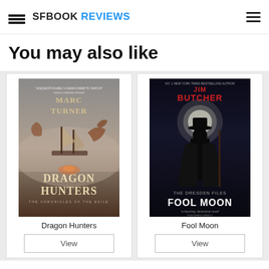SFBOOK REVIEWS
You may also like
[Figure (photo): Book cover: Dragon Hunters by Marc Turner]
Dragon Hunters
[Figure (photo): Book cover: Fool Moon by Jim Butcher (The Dresden Files)]
Fool Moon